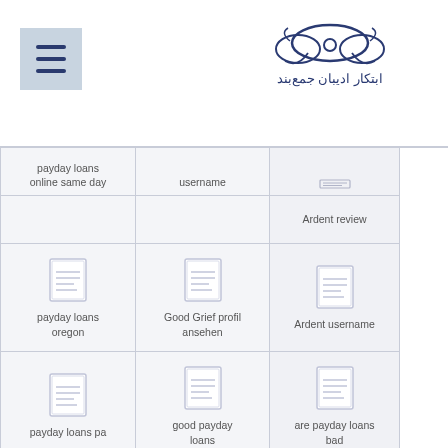Navigation header with menu icon and logo
| payday loans online same day | username |  |
|  | Ardent review |  |
| payday loans oregon | Good Grief profil ansehen | Ardent username |
| payday loans pa | good payday loans | are payday loans bad |
| payday loans pensacola fl | great plains lending loans payday loan online | are title loans bad |
| payday loans |  | Arizona Online |